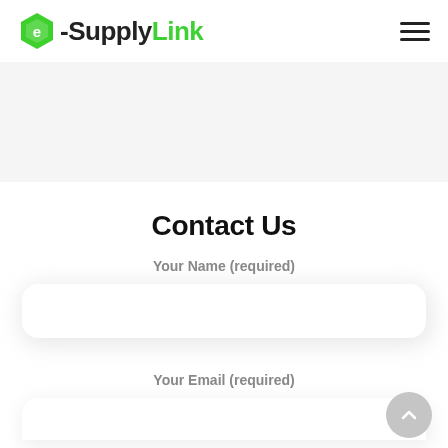[Figure (logo): e-SupplyLink logo with green hexagon icon and text '-SupplyLink' where '-Supply' is dark and 'Link' is green]
[Figure (other): Hamburger menu icon (three horizontal lines)]
[Figure (other): Light gray hero/banner band area below header]
Contact Us
Your Name (required)
[Figure (other): White rounded input field box for name]
Your Email (required)
[Figure (other): White rounded input field box for email (partially visible at bottom)]
[Figure (other): Circular scroll-to-top button in grey at bottom right]